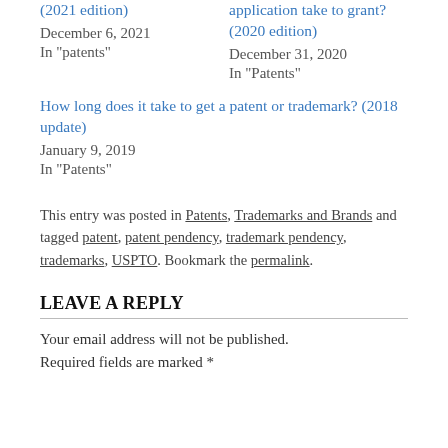(2021 edition)
December 6, 2021
In "patents"
application take to grant? (2020 edition)
December 31, 2020
In "Patents"
How long does it take to get a patent or trademark? (2018 update)
January 9, 2019
In "Patents"
This entry was posted in Patents, Trademarks and Brands and tagged patent, patent pendency, trademark pendency, trademarks, USPTO. Bookmark the permalink.
LEAVE A REPLY
Your email address will not be published.
Required fields are marked *